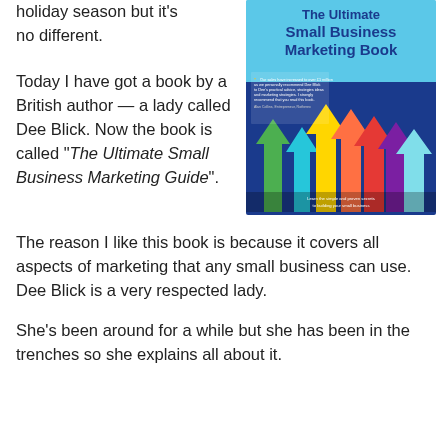holiday season but it's no different.
[Figure (illustration): Book cover of 'The Ultimate Small Business Marketing Book' by Dee Blick. Light blue top section with book title in dark blue bold text. Lower dark blue section with colorful upward-pointing arrows (green, yellow, orange, red, purple, teal) and a quote box on the left. Bottom text reads 'Learn the simple and proven secrets to building your small business'.]
Today I have got a book by a British author — a lady called Dee Blick. Now the book is called "The Ultimate Small Business Marketing Guide".
The reason I like this book is because it covers all aspects of marketing that any small business can use. Dee Blick is a very respected lady.
She's been around for a while but she has been in the trenches so she explains all about it.